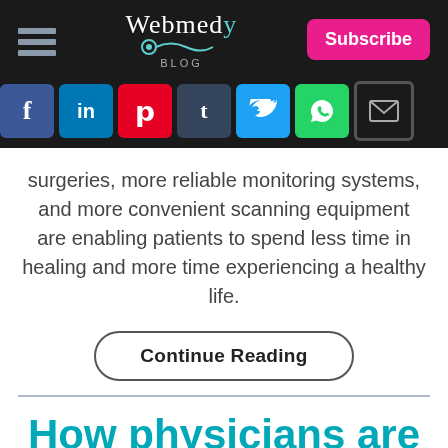Webmedy BLOG
[Figure (infographic): Social media share icons: Facebook, LinkedIn, Pinterest, Tumblr, Twitter, WhatsApp, Email]
surgeries, more reliable monitoring systems, and more convenient scanning equipment are enabling patients to spend less time in healing and more time experiencing a healthy life.
Continue Reading
How physicians are using EHR for